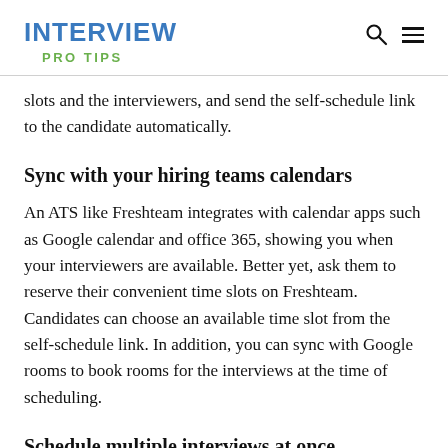INTERVIEW
PRO TIPS
slots and the interviewers, and send the self-schedule link to the candidate automatically.
Sync with your hiring teams calendars
An ATS like Freshteam integrates with calendar apps such as Google calendar and office 365, showing you when your interviewers are available. Better yet, ask them to reserve their convenient time slots on Freshteam. Candidates can choose an available time slot from the self-schedule link. In addition, you can sync with Google rooms to book rooms for the interviews at the time of scheduling.
Schedule multiple interviews at once
Depending on the role, the candidates go through different